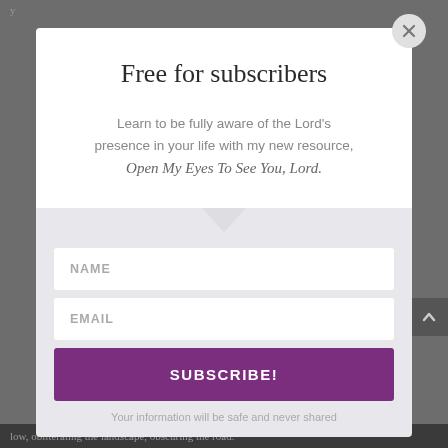Free for subscribers
Learn to be fully aware of the Lord's presence in your life with my new resource, Open My Eyes To See You, Lord.
NAME
EMAIL
SUBSCRIBE!
Your information will be safe and never shared